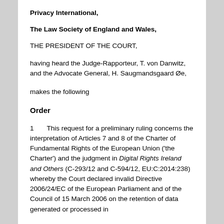Privacy International,
The Law Society of England and Wales,
THE PRESIDENT OF THE COURT,
having heard the Judge-Rapporteur, T. von Danwitz, and the Advocate General, H. Saugmandsgaard Øe,
makes the following
Order
1       This request for a preliminary ruling concerns the interpretation of Articles 7 and 8 of the Charter of Fundamental Rights of the European Union ('the Charter') and the judgment in Digital Rights Ireland and Others (C-293/12 and C-594/12, EU:C:2014:238) whereby the Court declared invalid Directive 2006/24/EC of the European Parliament and of the Council of 15 March 2006 on the retention of data generated or processed in